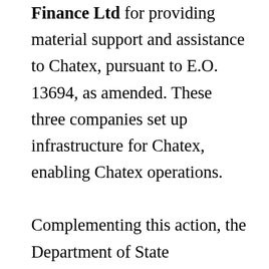Finance Ltd for providing material support and assistance to Chatex, pursuant to E.O. 13694, as amended. These three companies set up infrastructure for Chatex, enabling Chatex operations.

Complementing this action, the Department of State announced a Transnational Organized Crime Reward offer of up to $10,000,000 for information leading to the identification or location of any individual(s) who hold a key leadership position in the Sodinokibi/REvil